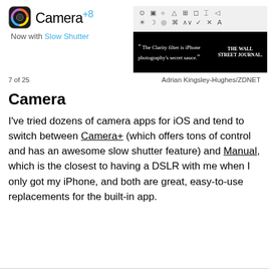[Figure (screenshot): Camera+8 app promotional screenshot showing app icon, name 'Camera+8', tagline 'Now with Slow Shutter', icons toolbar, and a Wall Street Journal quote: 'The Clarity filter is iPhone photography's secret sauce.']
7 of 25	Adrian Kingsley-Hughes/ZDNET
Camera
I've tried dozens of camera apps for iOS and tend to switch between Camera+ (which offers tons of control and has an awesome slow shutter feature) and Manual, which is the closest to having a DSLR with me when I only got my iPhone, and both are great, easy-to-use replacements for the built-in app.